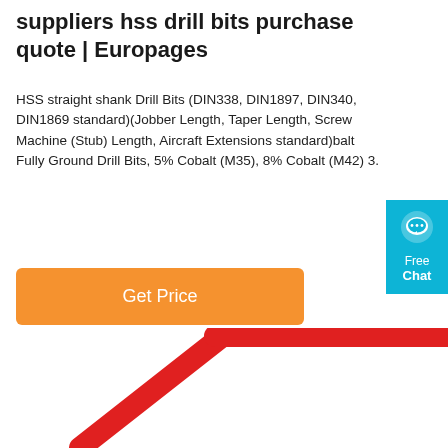suppliers hss drill bits purchase quote | Europages
HSS straight shank Drill Bits (DIN338, DIN1897, DIN340, DIN1869 standard)(Jobber Length, Taper Length, Screw Machine (Stub) Length, Aircraft Extensions standard)balt Fully Ground Drill Bits, 5% Cobalt (M35), 8% Cobalt (M42) 3.
[Figure (other): Orange 'Get Price' button]
[Figure (other): Blue chat widget with speech bubble icon, showing 'Free Chat' text]
[Figure (photo): Bottom portion of a red hexagonal drill bit holder/rack product against white background]